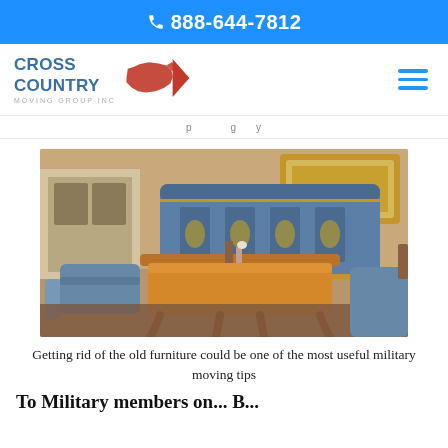📞 888-644-7812
[Figure (logo): Cross Country Moving Group Inc logo with red USA map silhouette and blue text]
(partial navigation text visible)
[Figure (photo): Vintage/antique furniture set including an ornate wooden desk/table and blue upholstered sofa and chairs in a decorative interior setting]
Getting rid of the old furniture could be one of the most useful military moving tips
To Military members on... B...